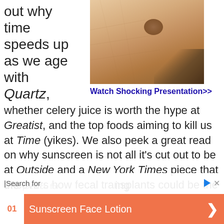out why time speeds up as we age with Quartz,
[Figure (photo): Close-up photo of human skin with a brown mole/age spot visible, and dark hair/fur in the lower right corner]
Watch Shocking Presentation>>
whether celery juice is worth the hype at Greatist, and the top foods aiming to kill us at Time (yikes). We also peek a great read on why sunscreen is not all it's cut out to be at Outside and a New York Times piece that uncovers how fecal transplants could be the ultimate treatment for a struggling gut-
Search for
01 Sunscreen Face Lotion